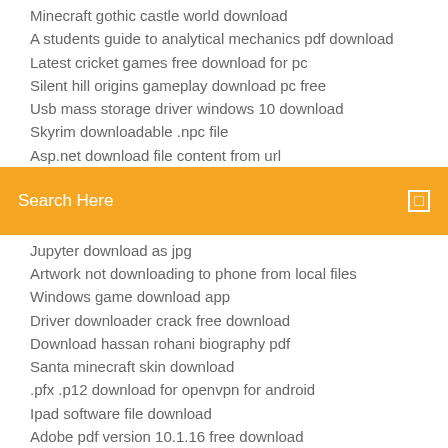Minecraft gothic castle world download
A students guide to analytical mechanics pdf download
Latest cricket games free download for pc
Silent hill origins gameplay download pc free
Usb mass storage driver windows 10 download
Skyrim downloadable .npc file
Asp.net download file content from url
[Figure (screenshot): Orange search bar with text 'Search Here' and a small square icon on the right]
Jupyter download as jpg
Artwork not downloading to phone from local files
Windows game download app
Driver downloader crack free download
Download hassan rohani biography pdf
Santa minecraft skin download
.pfx .p12 download for openvpn for android
Ipad software file download
Adobe pdf version 10.1.16 free download
Board study powerpoint pdf download